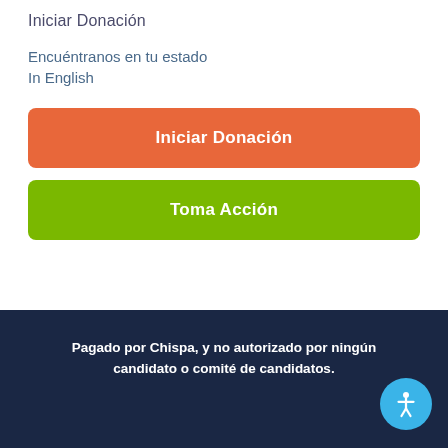Iniciar Donación
Encuéntranos en tu estado
In English
Iniciar Donación
Toma Acción
Pagado por Chispa, y no autorizado por ningún candidato o comité de candidatos.